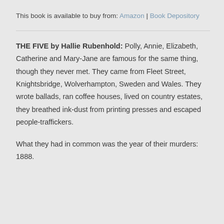This book is available to buy from: Amazon | Book Depository
THE FIVE by Hallie Rubenhold: Polly, Annie, Elizabeth, Catherine and Mary-Jane are famous for the same thing, though they never met. They came from Fleet Street, Knightsbridge, Wolverhampton, Sweden and Wales. They wrote ballads, ran coffee houses, lived on country estates, they breathed ink-dust from printing presses and escaped people-traffickers.

What they had in common was the year of their murders: 1888.